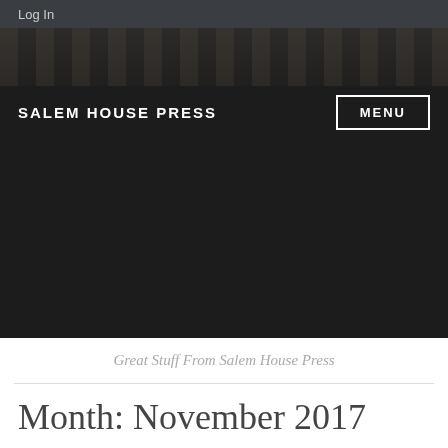Log In
SALEM HOUSE PRESS
MENU
Great Stuff From Salem House Press
Month: November 2017